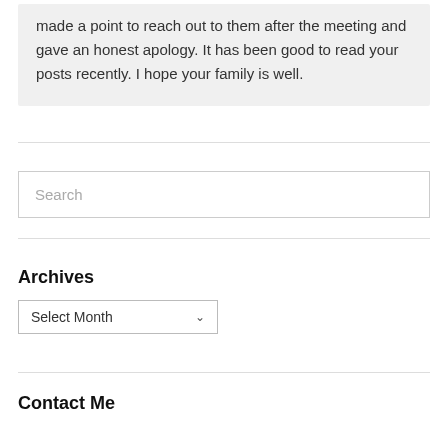made a point to reach out to them after the meeting and gave an honest apology. It has been good to read your posts recently. I hope your family is well.
Search
Archives
Select Month
Contact Me